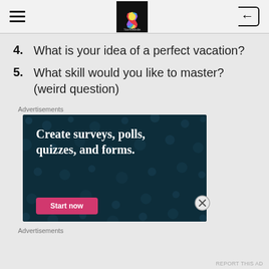Navigation header with hamburger menu, lotus logo, and back button
4. What is your idea of a perfect vacation?
5. What skill would you like to master? (weird question)
Advertisements
[Figure (screenshot): Advertisement banner with dark teal background and dot pattern. Text reads: 'Create surveys, polls, quizzes, and forms.' with a pink 'Start now' button.]
Advertisements